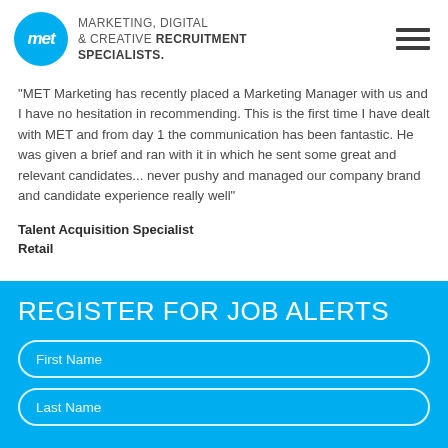[Figure (logo): MET Marketing logo: blue circle with 'met' text, followed by 'MARKETING, DIGITAL & CREATIVE RECRUITMENT SPECIALISTS.' text]
"MET Marketing has recently placed a Marketing Manager with us and I have no hesitation in recommending. This is the first time I have dealt with MET and from day 1 the communication has been fantastic. He was given a brief and ran with it in which he sent some great and relevant candidates... never pushy and managed our company brand and candidate experience really well"
Talent Acquisition Specialist
Retail
REGISTER FOR JOB ALERTS
First Name
Last Name